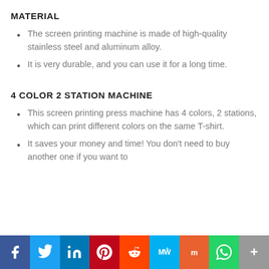MATERIAL
The screen printing machine is made of high-quality stainless steel and aluminum alloy.
It is very durable, and you can use it for a long time.
4 COLOR 2 STATION MACHINE
This screen printing press machine has 4 colors, 2 stations, which can print different colors on the same T-shirt.
It saves your money and time! You don't need to buy another one if you want to
Social share bar: Facebook, Twitter, LinkedIn, Pinterest, Reddit, MeWe, Mix, WhatsApp, More